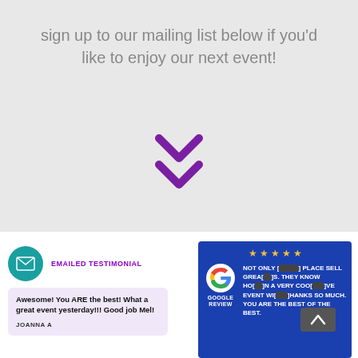sign up to our mailing list below if you'd like to enjoy our next event!
[Figure (illustration): Two purple downward chevron arrows stacked vertically, indicating scroll down]
[Figure (infographic): Emailed testimonial section with teal email icon circle, purple EMAILED TESTIMONIAL label, and lavender testimonial box reading: Awesome! You ARE the best! What a great event yesterday!!! Good job Mel! — JOANNA A]
[Figure (infographic): Google Review card on dark blue background with 5 yellow stars, Google G logo, GOOGLE REVIEW label, and white text: NOT ONLY [redacted] PLACE SELL GREA[redacted]S. THEY KNOW HO[redacted]N A VERY COO[redacted]VE EVENT WI[redacted]HANKS SO MUCH. YOU ARE THE BEST OF THE BEST.]